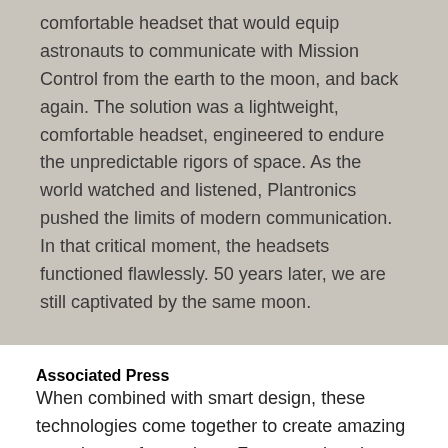comfortable headset that would equip astronauts to communicate with Mission Control from the earth to the moon, and back again. The solution was a lightweight, comfortable headset, engineered to endure the unpredictable rigors of space. As the world watched and listened, Plantronics pushed the limits of modern communication. In that critical moment, the headsets functioned flawlessly. 50 years later, we are still captivated by the same moon.
Associated Press
When combined with smart design, these technologies come together to create amazing experiences for workers. For example, when Associated Press (AP) moved its headquarters from midtown to lower Manhattan in 2017, AP's senior vice president and chief technology officer, Gianluca D'Aniello, knew the collaboration systems